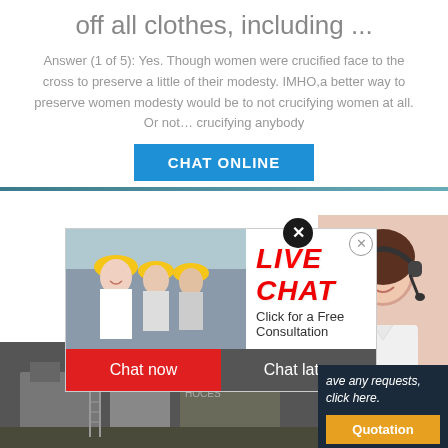off all clothes, including ...
Answer (1 of 5): Yes. Though women were crucified face to the cross to preserve a little of their modesty. IMHO,a better way to preserve women modesty would be to not crucifying women at all. Or not… crucifying anybody
[Figure (screenshot): Blue 'CHAT ONLINE' button]
[Figure (screenshot): Live chat advertisement overlay with workers in yellow hard hats, red LIVE CHAT text, 'Click for a Free Consultation', Chat now and Chat later buttons]
[Figure (screenshot): Woman with headset on right side, customer service photo]
[Figure (screenshot): Industrial machinery background photo at bottom]
[Figure (screenshot): Dark right sidebar with text 'ave any requests, click here.', Quotation button, Enquiry, limingjlmofen@sina.com]